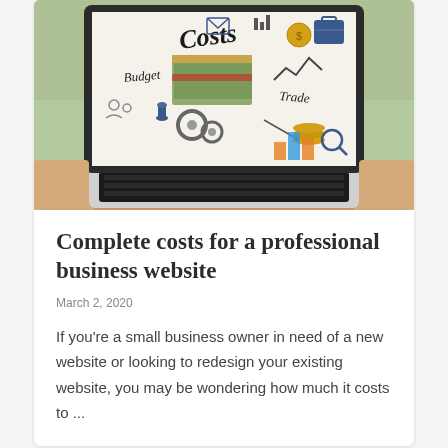[Figure (photo): Photo of a laptop being held on someone's lap outdoors. The laptop screen displays a business cost infographic with hand-drawn style illustrations including a stack of money, gears, coins, a chart, and text labels: 'Costs', 'Budget', 'Trade'.]
Complete costs for a professional business website
March 2, 2020
If you're a small business owner in need of a new website or looking to redesign your existing website, you may be wondering how much it costs to ...